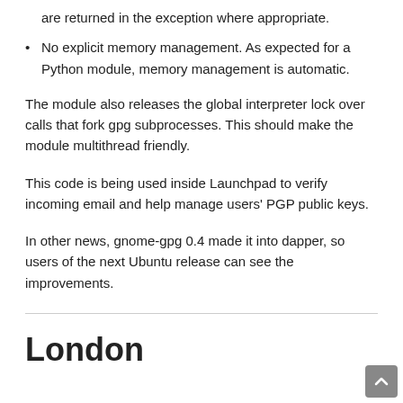are returned in the exception where appropriate.
No explicit memory management. As expected for a Python module, memory management is automatic.
The module also releases the global interpreter lock over calls that fork gpg subprocesses. This should make the module multithread friendly.
This code is being used inside Launchpad to verify incoming email and help manage users' PGP public keys.
In other news, gnome-gpg 0.4 made it into dapper, so users of the next Ubuntu release can see the improvements.
London